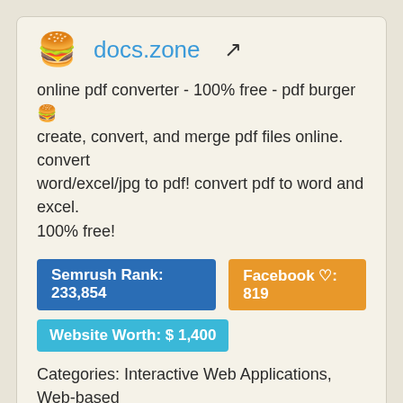docs.zone
online pdf converter - 100% free - pdf burger 🍔 create, convert, and merge pdf files online. convert word/excel/jpg to pdf! convert pdf to word and excel. 100% free!
Semrush Rank: 233,854
Facebook ♡: 819
Website Worth: $ 1,400
Categories: Interactive Web Applications, Web-based Applications
Is it similar? Yes 0  No  Scroll Top